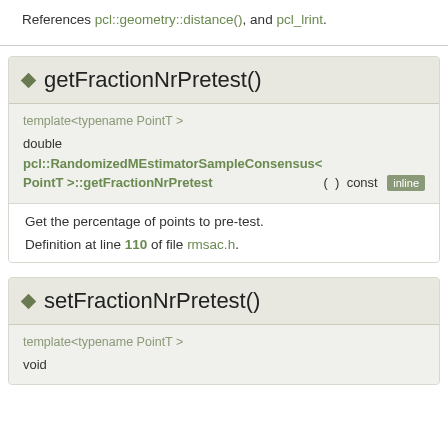References pcl::geometry::distance(), and pcl_lrint.
getFractionNrPretest()
template<typename PointT >
double pcl::RandomizedMEstimatorSampleConsensus< PointT >::getFractionNrPretest ( ) const inline
Get the percentage of points to pre-test.
Definition at line 110 of file rmsac.h.
setFractionNrPretest()
template<typename PointT >
void